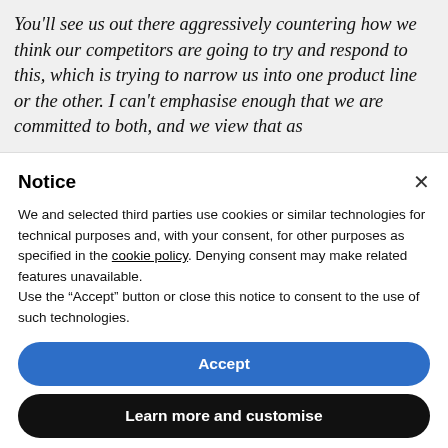You'll see us out there aggressively countering how we think our competitors are going to try and respond to this, which is trying to narrow us into one product line or the other. I can't emphasise enough that we are committed to both, and we view that as
Notice
We and selected third parties use cookies or similar technologies for technical purposes and, with your consent, for other purposes as specified in the cookie policy. Denying consent may make related features unavailable.
Use the "Accept" button or close this notice to consent to the use of such technologies.
Accept
Learn more and customise